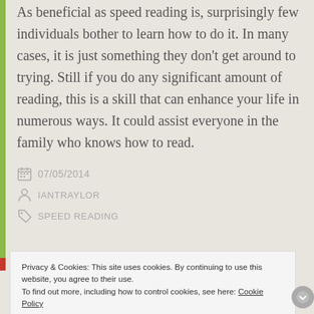As beneficial as speed reading is, surprisingly few individuals bother to learn how to do it. In many cases, it is just something they don't get around to trying. Still if you do any significant amount of reading, this is a skill that can enhance your life in numerous ways. It could assist everyone in the family who knows how to read.
07/05/2014
IANTRAYLOR
SPEED READING
Privacy & Cookies: This site uses cookies. By continuing to use this website, you agree to their use.
To find out more, including how to control cookies, see here: Cookie Policy
Close and accept